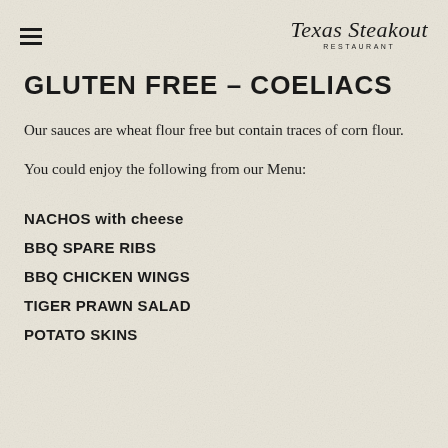Texas Steakout RESTAURANT
GLUTEN FREE – COELIACS
Our sauces are wheat flour free but contain traces of corn flour.
You could enjoy the following from our Menu:
NACHOS with cheese
BBQ SPARE RIBS
BBQ CHICKEN WINGS
TIGER PRAWN SALAD
POTATO SKINS